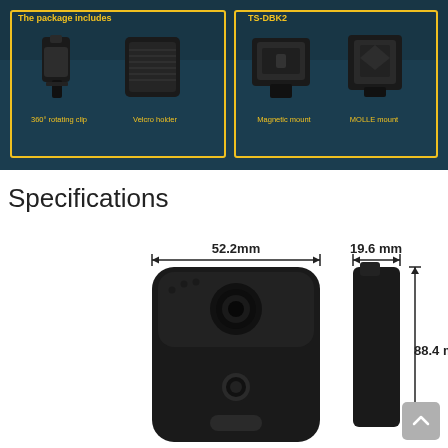[Figure (photo): Product package contents showing: The package includes - 360° rotating clip and Velcro holder (left box), TS-DBK2 - Magnetic mount and MOLLE mount (right box), all on dark blue/teal background.]
Specifications
[Figure (engineering-diagram): Engineering dimension diagram of body camera device. Front view showing width of 52.2mm. Side view showing depth of 19.6mm and height of 88.4mm.]